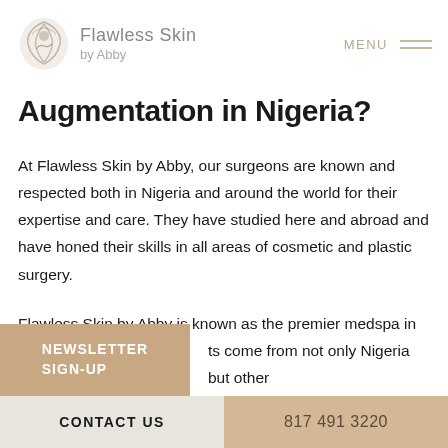Flawless Skin by Abby | MENU
Augmentation in Nigeria?
At Flawless Skin by Abby, our surgeons are known and respected both in Nigeria and around the world for their expertise and care. They have studied here and abroad and have honed their skills in all areas of cosmetic and plastic surgery.
Flawless Skin by Abby is known as the premier medspa in ... clients come from not only Nigeria but other ... to take advantage of our luxurious facility
NEWSLETTER SIGN-UP | CONTACT US | 817 491 3220